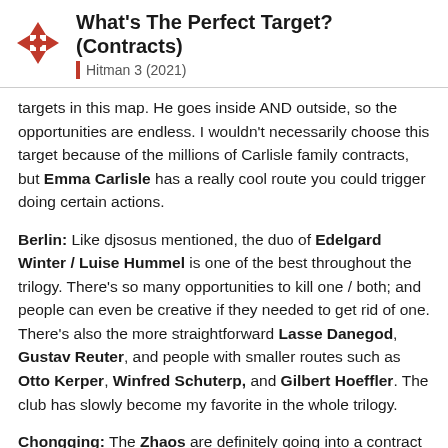What's The Perfect Target? (Contracts) | Hitman 3 (2021)
targets in this map. He goes inside AND outside, so the opportunities are endless. I wouldn't necessarily choose this target because of the millions of Carlisle family contracts, but Emma Carlisle has a really cool route you could trigger doing certain actions.
Berlin: Like djsosus mentioned, the duo of Edelgard Winter / Luise Hummel is one of the best throughout the trilogy. There's so many opportunities to kill one / both; and people can even be creative if they needed to get rid of one. There's also the more straightforward Lasse Danegod, Gustav Reuter, and people with smaller routes such as Otto Kerper, Winfred Schuterp, and Gilbert Hoeffler. The club has slowly become my favorite in the whole trilogy.
Chongqing: The Zhaos are definitely going into a contract in the future. They make use of the city and the apartments area. They are easy to take out but there's a lot of opportunities to kill them. There's a couple people who walk around with an